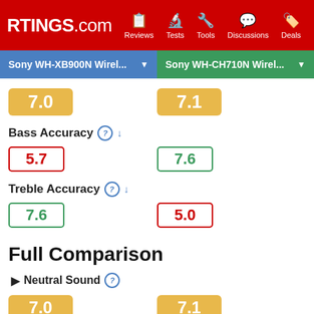RTINGS.com | Reviews | Tests | Tools | Discussions | Deals
Sony WH-XB900N Wirel... vs Sony WH-CH710N Wirel...
7.0 | 7.1
Bass Accuracy
5.7 | 7.6
Treble Accuracy
7.6 | 5.0
Full Comparison
Neutral Sound
7.0 | 7.1
Commute/Travel